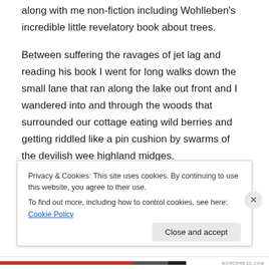along with me non-fiction including Wohlleben's incredible little revelatory book about trees.
Between suffering the ravages of jet lag and reading his book I went for long walks down the small lane that ran along the lake out front and I wandered into and through the woods that surrounded our cottage eating wild berries and getting riddled like a pin cushion by swarms of the devilish wee highland midges.
One day in the midst of this tortuous delirium, seeking respite in the cool and moist woods so vastly different from
Privacy & Cookies: This site uses cookies. By continuing to use this website, you agree to their use.
To find out more, including how to control cookies, see here: Cookie Policy
Close and accept